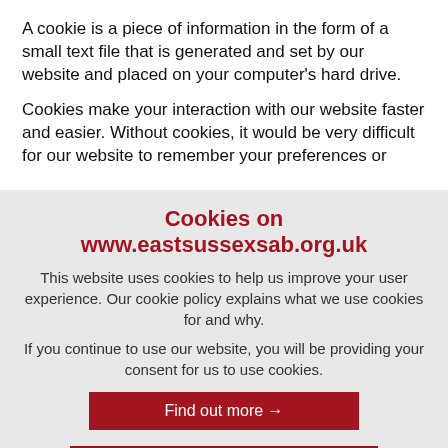A cookie is a piece of information in the form of a small text file that is generated and set by our website and placed on your computer's hard drive.
Cookies make your interaction with our website faster and easier. Without cookies, it would be very difficult for our website to remember your preferences or
Cookies on www.eastsussexsab.org.uk
This website uses cookies to help us improve your user experience. Our cookie policy explains what we use cookies for and why.
If you continue to use our website, you will be providing your consent for us to use cookies.
Find out more →
I accept cookies from this site ✓